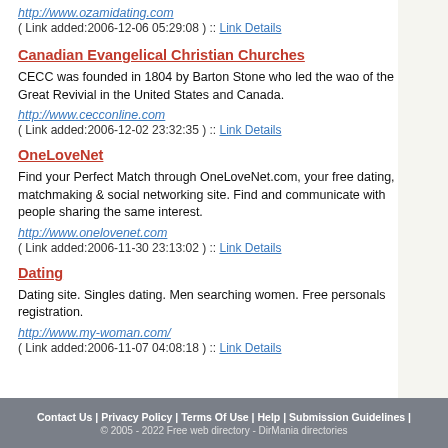http://www.ozamidating.com
( Link added:2006-12-06 05:29:08 ) :: Link Details
Canadian Evangelical Christian Churches
CECC was founded in 1804 by Barton Stone who led the wao of the Great Revivial in the United States and Canada.
http://www.cecconline.com
( Link added:2006-12-02 23:32:35 ) :: Link Details
OneLoveNet
Find your Perfect Match through OneLoveNet.com, your free dating, matchmaking & social networking site. Find and communicate with people sharing the same interest.
http://www.onelovenet.com
( Link added:2006-11-30 23:13:02 ) :: Link Details
Dating
Dating site. Singles dating. Men searching women. Free personals registration.
http://www.my-woman.com/
( Link added:2006-11-07 04:08:18 ) :: Link Details
Contact Us | Privacy Policy | Terms Of Use | Help | Submission Guidelines | © 2005 - 2022 Free web directory - DirMania directories